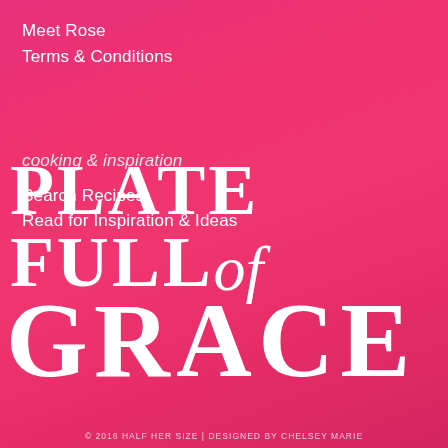Meet Rose
Terms & Conditions
cooking & inspiration
Search Recipes
Read for Inspiration & Ideas
PLATE FULL of GRACE
© 2016 HALF HER SIZE | DESIGNED BY CHELSEY MARIE